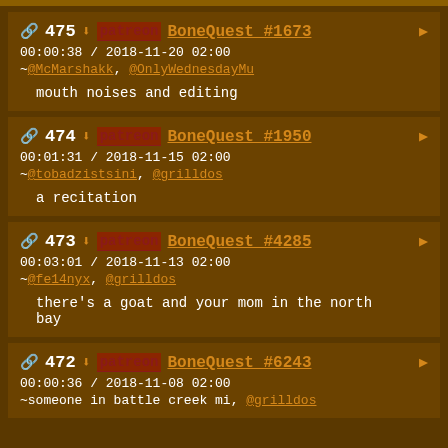475 BoneQuest #1673 00:00:38 / 2018-11-20 02:00 ~@McMarshakk, @OnlyWednesdayMu mouth noises and editing
474 BoneQuest #1950 00:01:31 / 2018-11-15 02:00 ~@tobadzistsini, @grilldos a recitation
473 BoneQuest #4285 00:03:01 / 2018-11-13 02:00 ~@fe14nyx, @grilldos there's a goat and your mom in the north bay
472 BoneQuest #6243 00:00:36 / 2018-11-08 02:00 ~someone in battle creek mi, @grilldos